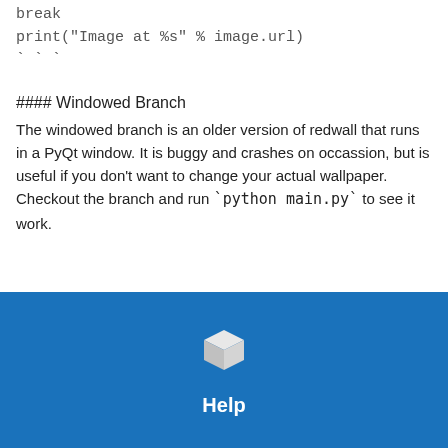break
print("Image at %s" % image.url)
` ` `
#### Windowed Branch
The windowed branch is an older version of redwall that runs in a PyQt window. It is buggy and crashes on occassion, but is useful if you don't want to change your actual wallpaper. Checkout the branch and run `python main.py` to see it work.
[Figure (logo): White cube icon on blue background with Help label below]